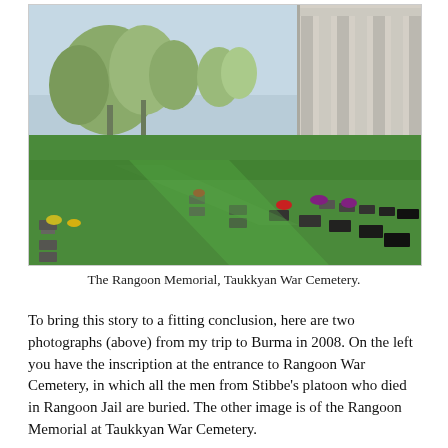[Figure (photo): Photograph of the Rangoon Memorial at Taukkyan War Cemetery, showing rows of grave markers on a well-maintained green lawn, with tropical trees in the background and a colonnaded memorial building visible on the right side.]
The Rangoon Memorial, Taukkyan War Cemetery.
To bring this story to a fitting conclusion, here are two photographs (above) from my trip to Burma in 2008. On the left you have the inscription at the entrance to Rangoon War Cemetery, in which all the men from Stibbe's platoon who died in Rangoon Jail are buried. The other image is of the Rangoon Memorial at Taukkyan War Cemetery.